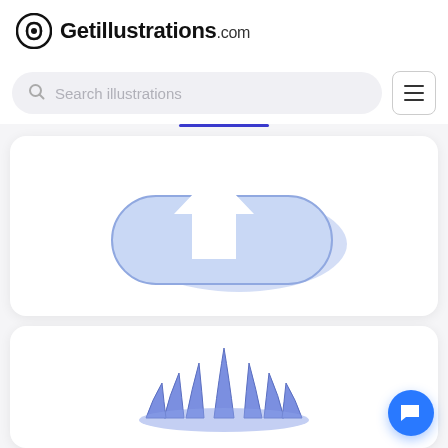[Figure (logo): Getillustrations.com logo with circular icon and bold text]
[Figure (screenshot): Search bar with placeholder text 'Search illustrations' and hamburger menu button]
[Figure (illustration): Blue pill-shaped upload button illustration with white upward arrow]
[Figure (illustration): Blue decorative plant/grass illustration at bottom of page]